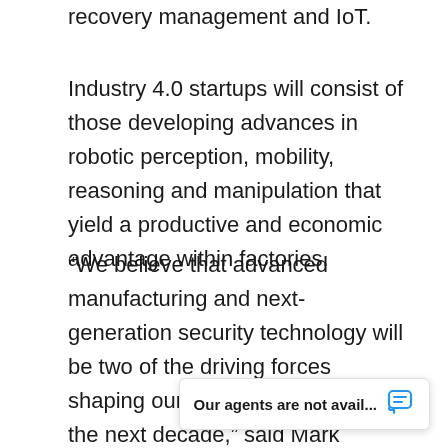recovery management and IoT.
Industry 4.0 startups will consist of those developing advances in robotic perception, mobility, reasoning and manipulation that yield a productive and economic advantage within factories.
“We believe that advanced manufacturing and next-generation security technology will be two of the driving forces shaping our changing world over the next decade,” said Mark Maybury, Chief Technology Officer for Stanley Black & Decker, “and we believe that Connecticut provides the right climate in which innovative businesses focused on creating these changes can thrive. Connecticut Innovat